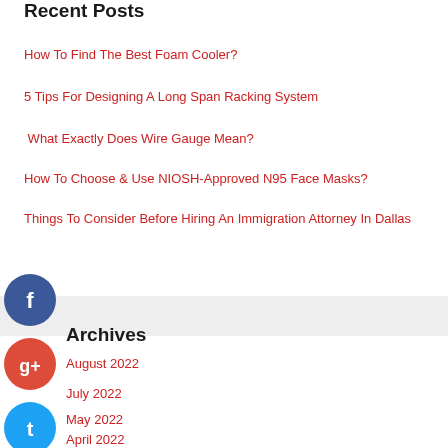Recent Posts
How To Find The Best Foam Cooler?
5 Tips For Designing A Long Span Racking System
What Exactly Does Wire Gauge Mean?
How To Choose & Use NIOSH-Approved N95 Face Masks?
Things To Consider Before Hiring An Immigration Attorney In Dallas
Archives
August 2022
July 2022
May 2022
April 2022